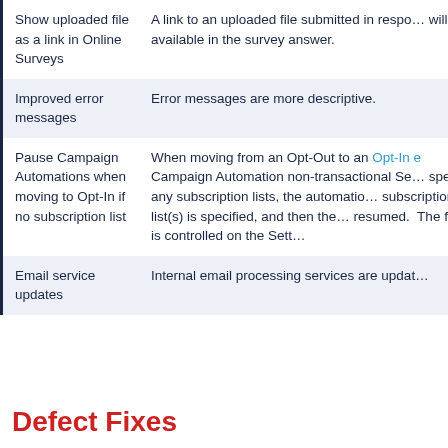| Feature | Description |
| --- | --- |
| Show uploaded file as a link in Online Surveys | A link to an uploaded file submitted in response will be available in the survey answer. |
| Improved error messages | Error messages are more descriptive. |
| Pause Campaign Automations when moving to Opt-In if no subscription list | When moving from an Opt-Out to an Opt-In e Campaign Automation non-transactional Se specify any subscription lists, the automatic subscription list(s) is specified, and then the resumed. The flow is controlled on the Sett |
| Email service updates | Internal email processing services are updat |
Defect Fixes